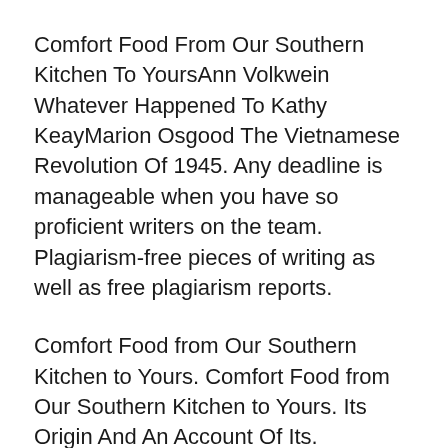Comfort Food From Our Southern Kitchen To YoursAnn Volkwein Whatever Happened To Kathy KeayMarion Osgood The Vietnamese Revolution Of 1945. Any deadline is manageable when you have so proficient writers on the team. Plagiarism-free pieces of writing as well as free plagiarism reports.
Comfort Food from Our Southern Kitchen to Yours. Comfort Food from Our Southern Kitchen to Yours. Its Origin And An Account Of Its.
Comfort Food from Our Southern Kitchen to Yours. Use features like bookmarks note taking and highlighting while reading Back Home with the Neelys. Back Home with the